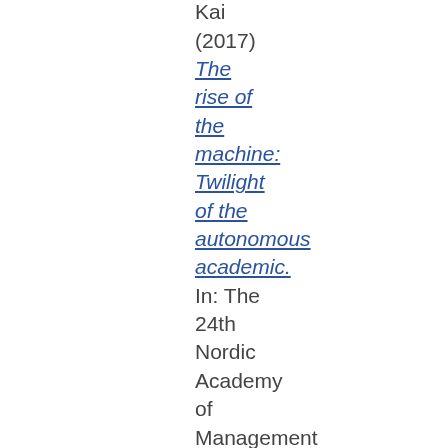Kong, Kai (2017) The rise of the machine: Twilight of the autonomous academic. In: The 24th Nordic Academy of Management Conference, 23 -25 August 2017,